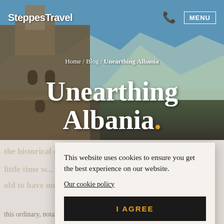SteppesTravel | MENU
Home / Blog / Unearthing Albania
Unearthing Albania.
This website uses cookies to ensure you get the best experience on our website.
Our cookie policy
I AGREE